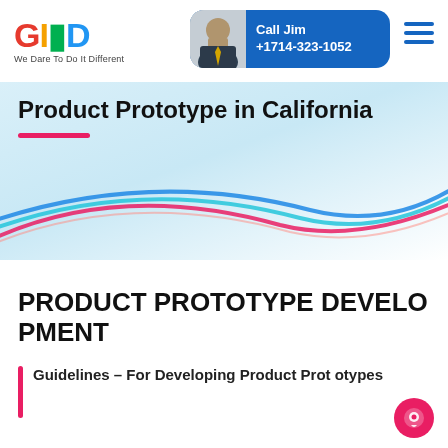[Figure (logo): GID logo with colorful letters G, I, D and tagline 'We Dare To Do It Different']
[Figure (infographic): Call Jim contact box with photo, name 'Call Jim' and phone number +1714-323-1052 on blue background]
Product Prototype in California
[Figure (illustration): Decorative curved lines in blue, teal, and pink sweeping across the page]
PRODUCT PROTOTYPE DEVELOPMENT
Guidelines – For Developing Product Prototypes